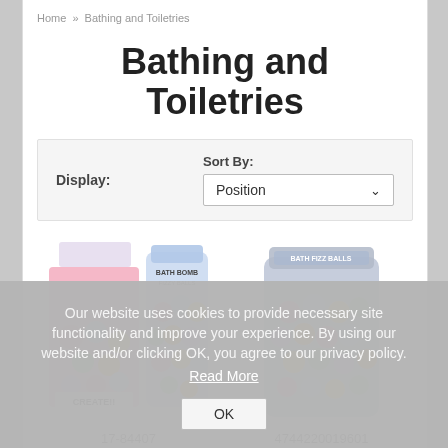Home » Bathing and Toiletries
Bathing and Toiletries
Display:
Sort By: Position
[Figure (photo): Two bath bomb products: a pink box display labeled CREATE!! with colorful bath bombs, and a metallic resealable bag with colorful bath bombs]
17-84407
4744220019601
Add to cart (left product)
Add to cart (right product)
Add to wishlist (left product)
Add to wishlist (right product)
Our website uses cookies to provide necessary site functionality and improve your experience. By using our website and/or clicking OK, you agree to our privacy policy.
Read More
OK